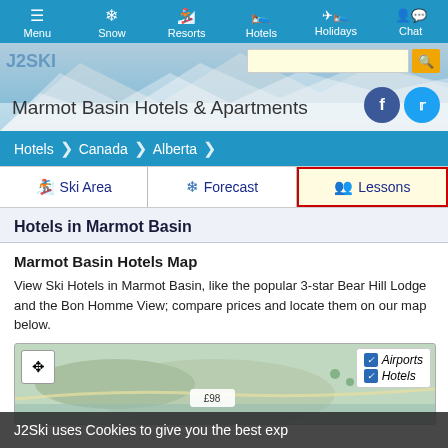Menu | Snow | Resorts | Hotels | Holidays | Chat
Marmot Basin Hotels & Apartments
Hotels › Canada › Alberta
Ski Area
Forecast
Lessons
Hotels in Marmot Basin
Marmot Basin Hotels Map
View Ski Hotels in Marmot Basin, like the popular 3-star Bear Hill Lodge and the Bon Homme View; compare prices and locate them on our map below.
[Figure (map): Map of Marmot Basin showing hotel locations with expand button and legend for Airports and Hotels]
J2Ski uses Cookies to give you the best exp